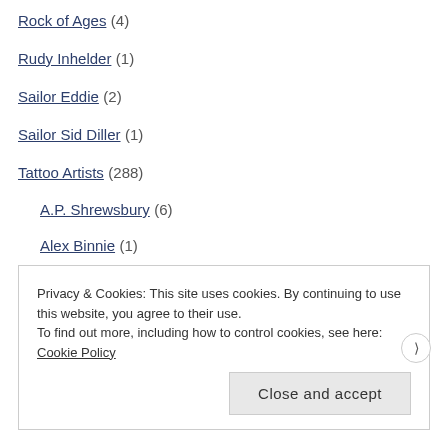Rock of Ages (4)
Rudy Inhelder (1)
Sailor Eddie (2)
Sailor Sid Diller (1)
Tattoo Artists (288)
A.P. Shrewsbury (6)
Alex Binnie (1)
Alice Newstead (2)
Andy Perez (4)
Privacy & Cookies: This site uses cookies. By continuing to use this website, you agree to their use. To find out more, including how to control cookies, see here: Cookie Policy
Close and accept